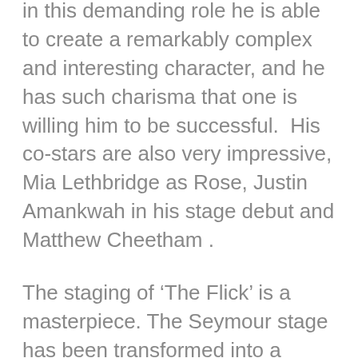in this demanding role he is able to create a remarkably complex and interesting character, and he has such charisma that one is willing him to be successful.  His co-stars are also very impressive, Mia Lethbridge as Rose, Justin Amankwah in his stage debut and Matthew Cheetham .
The staging of ‘The Flick’ is a masterpiece. The Seymour stage has been transformed into a cinema, and above the seating is the projection booth, from which we are given the impression of movies being projected